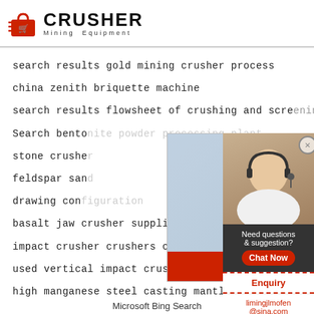[Figure (logo): Crusher Mining Equipment logo with red shopping bag icon and bold CRUSHER text]
search results gold mining crusher process
china zenith briquette machine
search results flowsheet of crushing and screening plant
Search bentonite powder processing plant
stone crusher
feldspar sand
drawing configuration
basalt jaw crusher supplier in kazakhstan
impact crusher crushers china impact crusher
used vertical impact crusher
high manganese steel casting mantle liner for
[Figure (screenshot): Live chat popup with workers in hard hats, LIVE CHAT text, Click for a Free Consultation, Chat now and Chat later buttons, 24Hrs Online banner]
[Figure (photo): Customer service agent sidebar with Need questions & suggestion, Chat Now button, Enquiry section, limingjlmofen@sina.com email]
Microsoft Bing Search